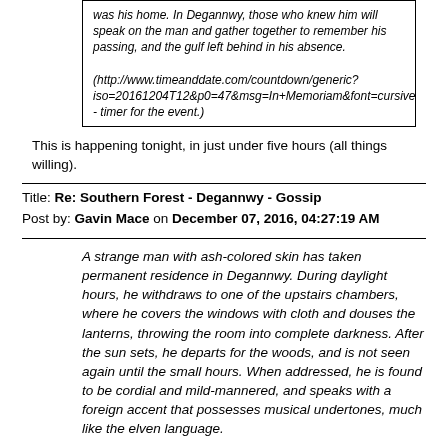was his home. In Degannwy, those who knew him will speak on the man and gather together to remember his passing, and the gulf left behind in his absence.

(http://www.timeanddate.com/countdown/generic?iso=20161204T12&p0=47&msg=In+Memoriam&font=cursive - timer for the event.)
This is happening tonight, in just under five hours (all things willing).
Title: Re: Southern Forest - Degannwy - Gossip
Post by: Gavin Mace on December 07, 2016, 04:27:19 AM
A strange man with ash-colored skin has taken permanent residence in Degannwy. During daylight hours, he withdraws to one of the upstairs chambers, where he covers the windows with cloth and douses the lanterns, throwing the room into complete darkness. After the sun sets, he departs for the woods, and is not seen again until the small hours. When addressed, he is found to be cordial and mild-mannered, and speaks with a foreign accent that possesses musical undertones, much like the elven language.

Is the presence of this pale creature that shuns the light a cause for concern?
Title: Re: Southern Forest - Degannwy - Gossip
Post by: Aduial on December 27, 2016, 10:57:15 AM